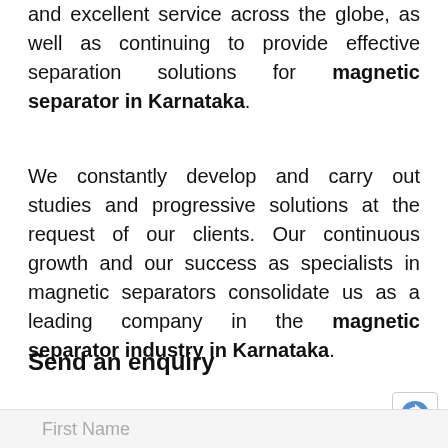and excellent service across the globe, as well as continuing to provide effective separation solutions for magnetic separator in Karnataka.
We constantly develop and carry out studies and progressive solutions at the request of our clients. Our continuous growth and our success as specialists in magnetic separators consolidate us as a leading company in the magnetic separator industry in Karnataka.
Send an enquiry